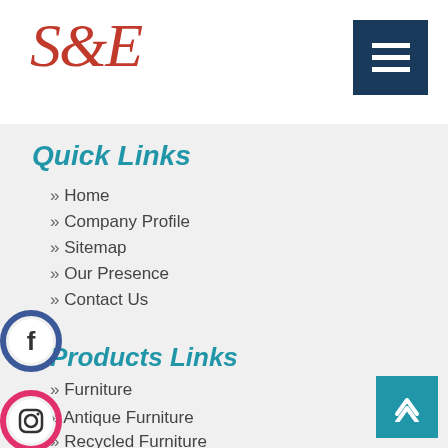SE logo and navigation hamburger menu
Quick Links
» Home
» Company Profile
» Sitemap
» Our Presence
» Contact Us
Products Links
» Furniture
» Antique Furniture
» Recycled Furniture